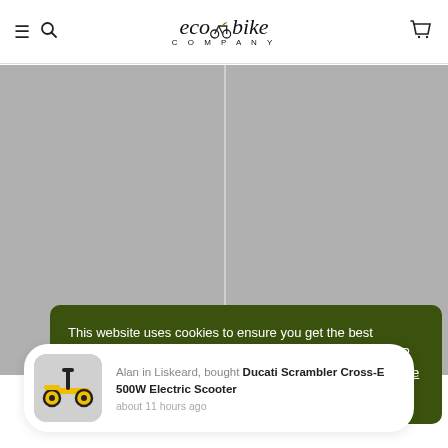ecobike COMPANY — navigation header with hamburger menu, search icon, and cart icon
[Figure (photo): Gray placeholder image area split by a vertical divider into two panels, representing product images]
This website uses cookies to ensure you get the best experience on our website. Your personal data (e.g. your IP address) may be used for personalisation of ads. Learn more about how we use cookies.
Alan in Liskeard, bought Ducati Scrambler Cross-E 500W Electric Scooter about 11 hours ago